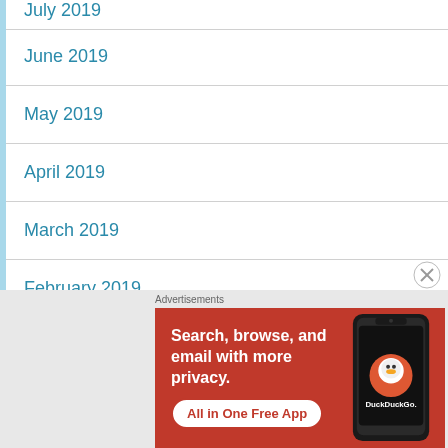July 2019
June 2019
May 2019
April 2019
March 2019
February 2019
January 2019
Advertisements
[Figure (other): DuckDuckGo advertisement banner: orange background with text 'Search, browse, and email with more privacy. All in One Free App' and a phone image showing the DuckDuckGo logo.]